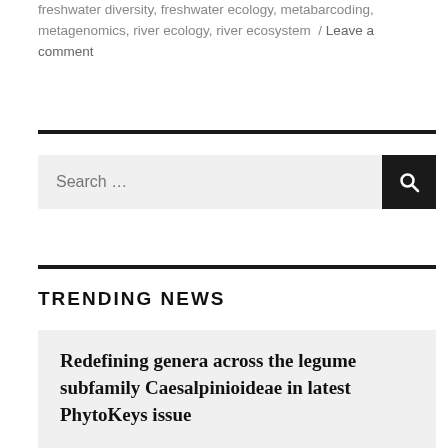freshwater diversity, freshwater ecology, metabarcoding, metagenomics, river ecology, river ecosystem / Leave a comment
Search …
TRENDING NEWS
Redefining genera across the legume subfamily Caesalpinioideae in latest PhytoKeys issue